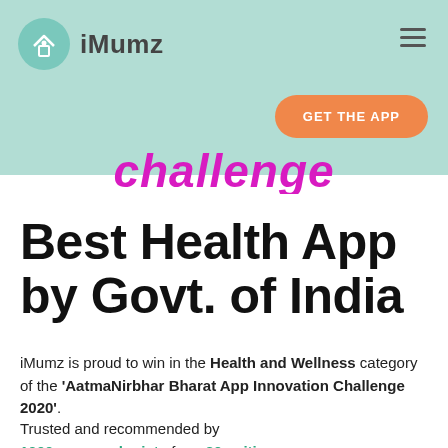[Figure (logo): iMumz app logo — teal circular icon with house symbol and 'iMumz' text, displayed in a mint-green header bar with hamburger menu and orange 'GET THE APP' button]
challenge
Best Health App by Govt. of India
iMumz is proud to win in the Health and Wellness category of the 'AatmaNirbhar Bharat App Innovation Challenge 2020'.
Trusted and recommended by 1000+ gynecologists from 20+ cities across